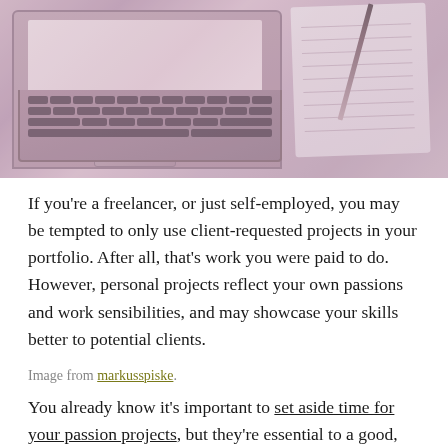[Figure (photo): A laptop computer with keyboard visible, next to a notepad and pencil on a desk, with a pinkish-purple tinted filter overlay]
If you're a freelancer, or just self-employed, you may be tempted to only use client-requested projects in your portfolio. After all, that's work you were paid to do. However, personal projects reflect your own passions and work sensibilities, and may showcase your skills better to potential clients.
Image from markusspiske.
You already know it's important to set aside time for your passion projects, but they're essential to a good, complete portfolio. 99u gives an example of how this can also attract